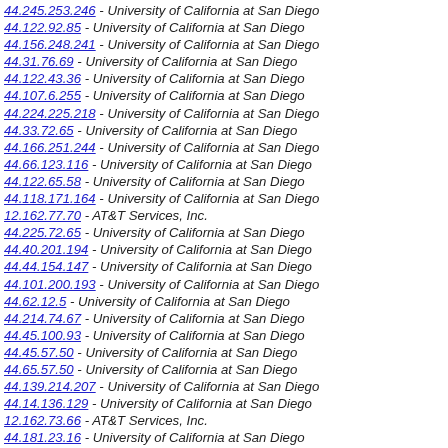44.245.253.246 - University of California at San Diego
44.122.92.85 - University of California at San Diego
44.156.248.241 - University of California at San Diego
44.31.76.69 - University of California at San Diego
44.122.43.36 - University of California at San Diego
44.107.6.255 - University of California at San Diego
44.224.225.218 - University of California at San Diego
44.33.72.65 - University of California at San Diego
44.166.251.244 - University of California at San Diego
44.66.123.116 - University of California at San Diego
44.122.65.58 - University of California at San Diego
44.118.171.164 - University of California at San Diego
12.162.77.70 - AT&T Services, Inc.
44.225.72.65 - University of California at San Diego
44.40.201.194 - University of California at San Diego
44.44.154.147 - University of California at San Diego
44.101.200.193 - University of California at San Diego
44.62.12.5 - University of California at San Diego
44.214.74.67 - University of California at San Diego
44.45.100.93 - University of California at San Diego
44.45.57.50 - University of California at San Diego
44.65.57.50 - University of California at San Diego
44.139.214.207 - University of California at San Diego
44.14.136.129 - University of California at San Diego
12.162.73.66 - AT&T Services, Inc.
44.181.23.16 - University of California at San Diego
44.76.65.58 - University of California at San Diego
44.122.69.62 - University of California at San Diego
44.122.58.51 - University of California at San Diego
44.129.81.74 - University of California at San Diego